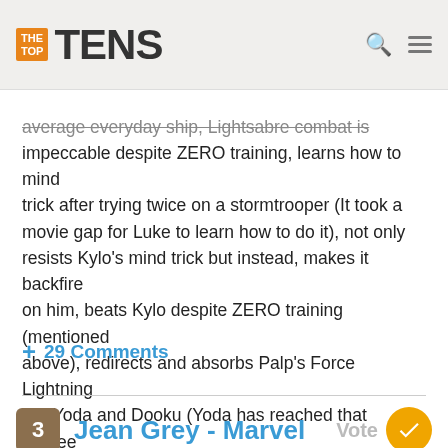THE TOP TENS
average everyday ship, Lightsabre combat is impeccable despite ZERO training, learns how to mind trick after trying twice on a stormtrooper (It took a movie gap for Luke to learn how to do it), not only resists Kylo's mind trick but instead, makes it backfire on him, beats Kylo despite ZERO training (mentioned above), redirects and absorbs Palp's Force Lightning like Yoda and Dooku (Yoda has reached that degree of power through years of experience), It's not Mary sue, it's MaR(e)y Sue.
+ 29 Comments
3 Jean Grey - Marvel
Jean is not only